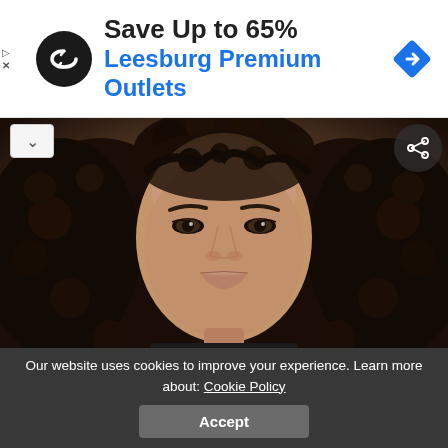[Figure (infographic): Advertisement banner with circular black logo containing looping arrows icon, headline 'Save Up to 65%', subheading 'Leesburg Premium Outlets' in blue, and blue diamond navigation icon on the right. Play and close controls on far left.]
[Figure (photo): Close-up portrait photo of a young woman with long curly dark hair, light brown skin, and neutral makeup. Dark background. Collapse chevron button top-left, share button top-right.]
Our website uses cookies to improve your experience. Learn more about: Cookie Policy
Accept